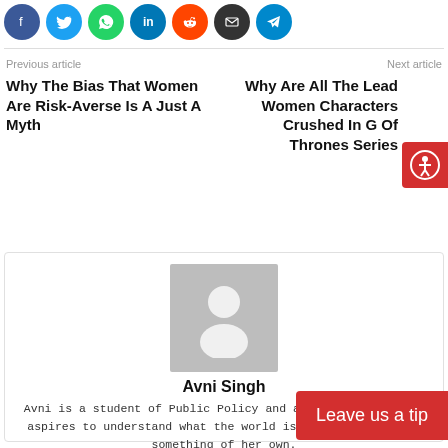[Figure (other): Social media share icons row: Facebook (blue), Twitter (light blue), WhatsApp (green), LinkedIn (dark blue), Reddit (orange), Email (dark/black), Telegram (blue)]
Previous article
Next article
Why The Bias That Women Are Risk-Averse Is A Just A Myth
Why Are All The Lead Women Characters Crushed In Game Of Thrones Series
[Figure (other): Accessibility icon button (person in circle, red background)]
[Figure (photo): Generic author avatar placeholder (grey background with white silhouette person icon)]
Avni Singh
Avni is a student of Public Policy and a fresh writer. She aspires to understand what the world is doing and then do something of her own.
Leave us a tip